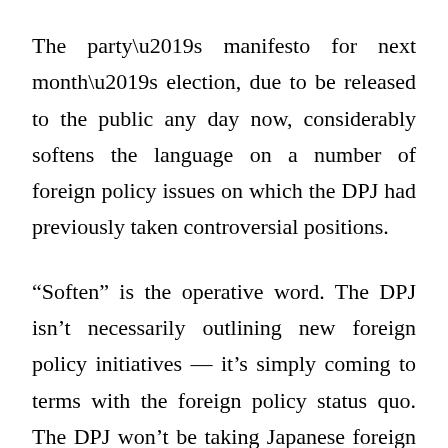The party’s manifesto for next month’s election, due to be released to the public any day now, considerably softens the language on a number of foreign policy issues on which the DPJ had previously taken controversial positions.
“Soften” is the operative word. The DPJ isn’t necessarily outlining new foreign policy initiatives — it’s simply coming to terms with the foreign policy status quo. The DPJ won’t be taking Japanese foreign policy in a new direction, certainly not in its first year or two. (Although, that said, it is encouraging that the manifesto includes a plank calling for flexibility in negotiations with Russia over the Kirile Islands.) Asahi